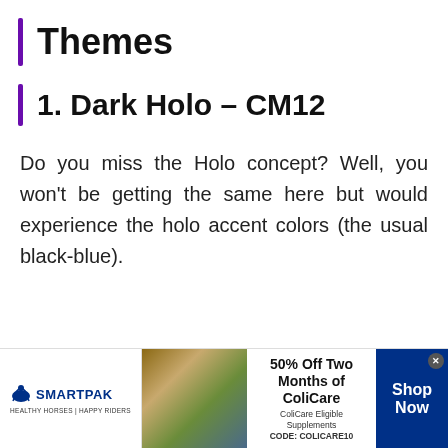Themes
1. Dark Holo – CM12
Do you miss the Holo concept? Well, you won't be getting the same here but would experience the holo accent colors (the usual black-blue).
[Figure (other): SmartPak advertisement banner: logo on left, product/horse image in center, '50% Off Two Months of ColiCare, ColiCare Eligible Supplements, CODE: COLICARE10' text, and 'Shop Now' blue button on right with close X button.]